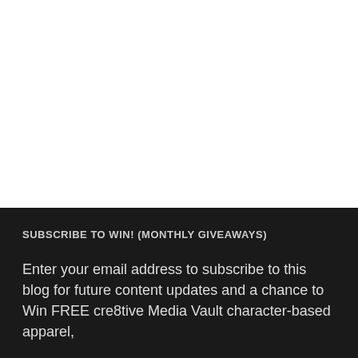[Figure (other): Large white blank area occupying the top portion of the page]
SUBSCRIBE TO WIN! (MONTHLY GIVEAWAYS)
Enter your email address to subscribe to this blog for future content updates and a chance to Win FREE cre8tive Media Vault character-based apparel,